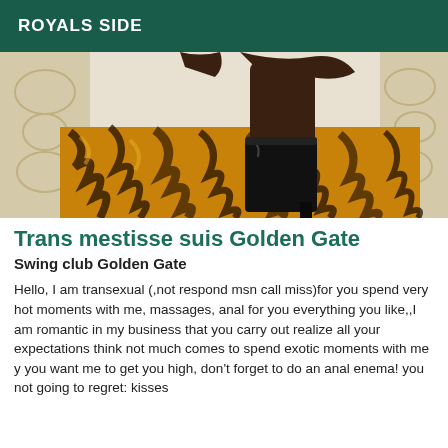ROYALS SIDE
[Figure (photo): Photo showing a person's leg in a black high-heeled boot resting on a tiger-print surface, with decorative wallpaper in the background.]
Trans mestisse suis Golden Gate
Swing club Golden Gate
Hello, I am transexual (,not respond msn call miss)for you spend very hot moments with me, massages, anal for you everything you like,,I am romantic in my business that you carry out realize all your expectations think not much comes to spend exotic moments with me y you want me to get you high, don't forget to do an anal enema! you not going to regret: kisses